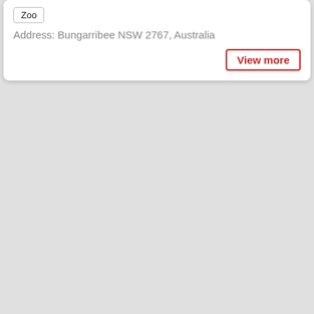Zoo
Address: Bungarribee NSW 2767, Australia
View more